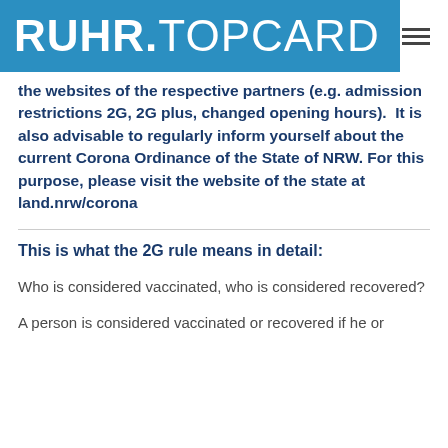RUHR.TOPCARD
the websites of the respective partners (e.g. admission restrictions 2G, 2G plus, changed opening hours).  It is also advisable to regularly inform yourself about the current Corona Ordinance of the State of NRW. For this purpose, please visit the website of the state at land.nrw/corona
This is what the 2G rule means in detail:
Who is considered vaccinated, who is considered recovered?
A person is considered vaccinated or recovered if he or